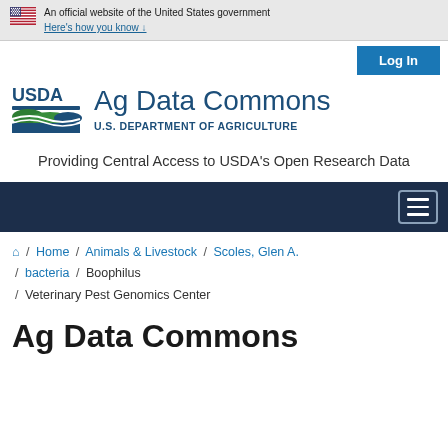An official website of the United States government
Here's how you know ∨
Log In
[Figure (logo): USDA logo with green landscape graphic]
Ag Data Commons
U.S. DEPARTMENT OF AGRICULTURE
Providing Central Access to USDA's Open Research Data
[Figure (other): Dark navy navigation bar with hamburger menu icon]
Home / Animals & Livestock / Scoles, Glen A. / bacteria / Boophilus / Veterinary Pest Genomics Center
Ag Data Commons